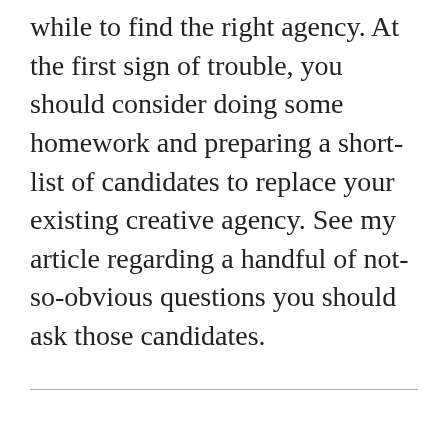while to find the right agency. At the first sign of trouble, you should consider doing some homework and preparing a short-list of candidates to replace your existing creative agency. See my article regarding a handful of not-so-obvious questions you should ask those candidates.